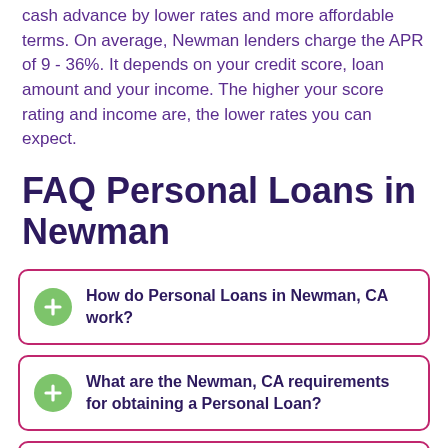cash advance by lower rates and more affordable terms. On average, Newman lenders charge the APR of 9 - 36%. It depends on your credit score, loan amount and your income. The higher your score rating and income are, the lower rates you can expect.
FAQ Personal Loans in Newman
How do Personal Loans in Newman, CA work?
What are the Newman, CA requirements for obtaining a Personal Loan?
How much can I apply for with a Personal Loan in Newman, CA?
What are the interest rates for a Personal Loan